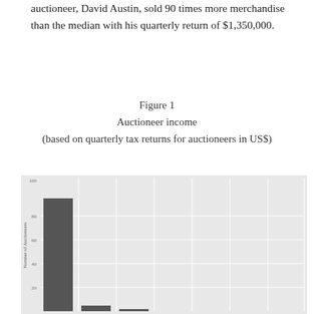auctioneer, David Austin, sold 90 times more merchandise than the median with his quarterly return of $1,350,000.
Figure 1
Auctioneer income
(based on quarterly tax returns for auctioneers in US$)
[Figure (bar-chart): Auctioneer income]